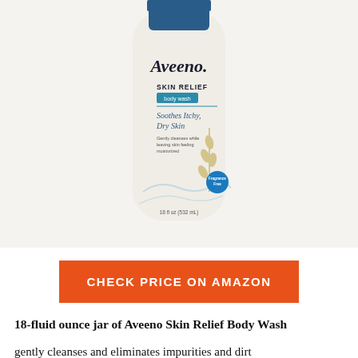[Figure (photo): Aveeno Skin Relief Body Wash bottle, 18 fl oz (532 mL), white bottle with blue cap, labeled Skin Relief body wash, Soothes Itchy Dry Skin, Fragrance Free, with oat illustration]
CHECK PRICE ON AMAZON
18-fluid ounce jar of Aveeno Skin Relief Body Wash
gently cleanses and eliminates impurities and dirt